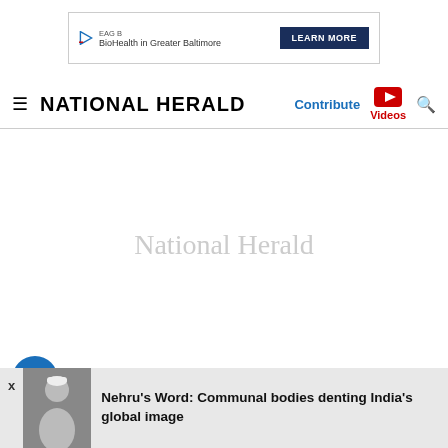[Figure (other): Advertisement banner: EAG B BioHealth in Greater Baltimore with LEARN MORE button]
NATIONAL HERALD — navigation bar with Contribute, Videos, and search
[Figure (other): Advertisement placeholder area showing 'National Herald' in grey text]
Namrata Joshi
Nehru's Word: Communal bodies denting India's global image